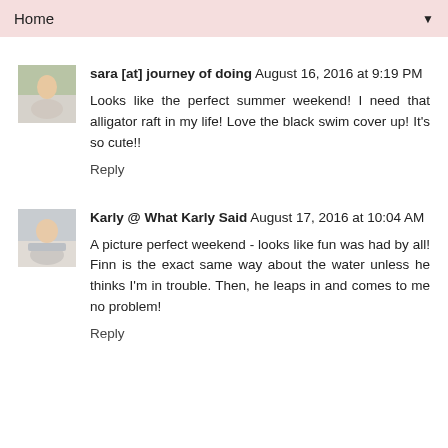Home
sara [at] journey of doing August 16, 2016 at 9:19 PM
Looks like the perfect summer weekend! I need that alligator raft in my life! Love the black swim cover up! It's so cute!!
Reply
Karly @ What Karly Said August 17, 2016 at 10:04 AM
A picture perfect weekend - looks like fun was had by all! Finn is the exact same way about the water unless he thinks I'm in trouble. Then, he leaps in and comes to me no problem!
Reply